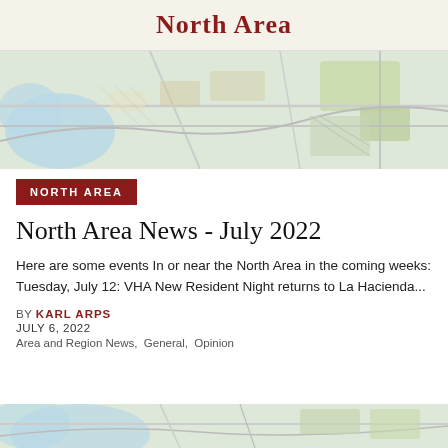North Area
[Figure (map): Topographic/planning map of the North Area showing roads, green spaces, and land use patterns in muted colors]
NORTH AREA
North Area News - July 2022
Here are some events In or near the North Area in the coming weeks: Tuesday, July 12: VHA New Resident Night returns to La Hacienda...
BY KARL ARPS
JULY 6, 2022
Area and Region News,  General,  Opinion
[Figure (map): Partial map image at the bottom of the page, same style as header map]